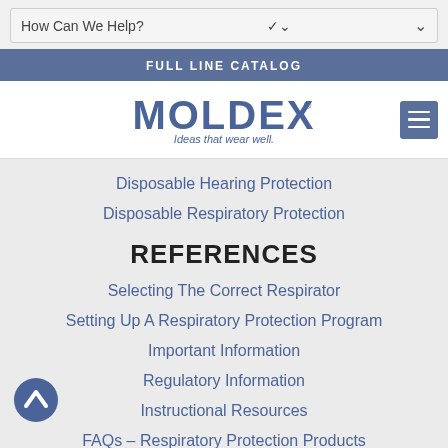How Can We Help?
FULL LINE CATALOG
[Figure (logo): MOLDEX logo with tagline 'Ideas that wear well.']
Disposable Hearing Protection
Disposable Respiratory Protection
REFERENCES
Selecting The Correct Respirator
Setting Up A Respiratory Protection Program
Important Information
Regulatory Information
Instructional Resources
FAQs – Respiratory Protection Products